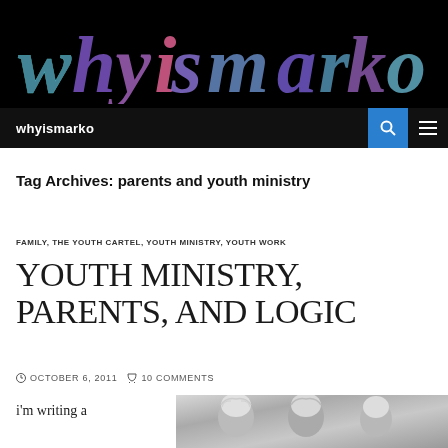whyismarko
Tag Archives: parents and youth ministry
FAMILY, THE YOUTH CARTEL, YOUTH MINISTRY, YOUTH WORK
YOUTH MINISTRY, PARENTS, AND LOGIC
OCTOBER 6, 2011   10 COMMENTS
i'm writing a